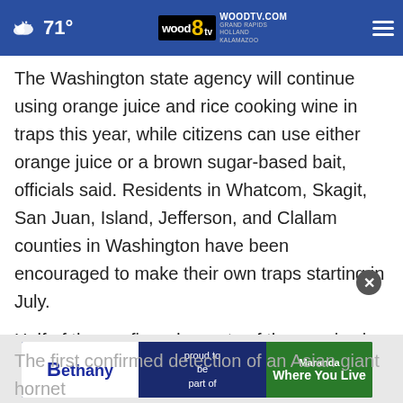71° WOODTV.COM GRAND RAPIDS HOLLAND KALAMAZOO
The Washington state agency will continue using orange juice and rice cooking wine in traps this year, while citizens can use either orange juice or a brown sugar-based bait, officials said. Residents in Whatcom, Skagit, San Juan, Island, Jefferson, and Clallam counties in Washington have been encouraged to make their own traps starting in July.
Half of the confirmed reports of the species in the state last year and all of the reports about the hornets in British Columbia came from members of the pu
[Figure (other): Bethany 'proud to be part of Maranda Where You Live' advertisement banner]
The first confirmed detection of an Asian giant hornet